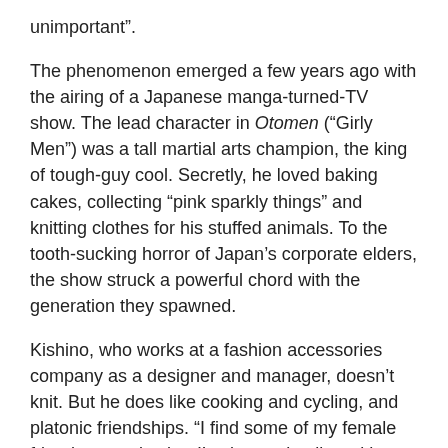unimportant”.
The phenomenon emerged a few years ago with the airing of a Japanese manga-turned-TV show. The lead character in Otomen (“Girly Men”) was a tall martial arts champion, the king of tough-guy cool. Secretly, he loved baking cakes, collecting “pink sparkly things” and knitting clothes for his stuffed animals. To the tooth-sucking horror of Japan’s corporate elders, the show struck a powerful chord with the generation they spawned.
Kishino, who works at a fashion accessories company as a designer and manager, doesn’t knit. But he does like cooking and cycling, and platonic friendships. “I find some of my female friends attractive but I’ve learned to live without sex. Emotional entanglements are too complicated,” he says. “I can’t be bothered.”